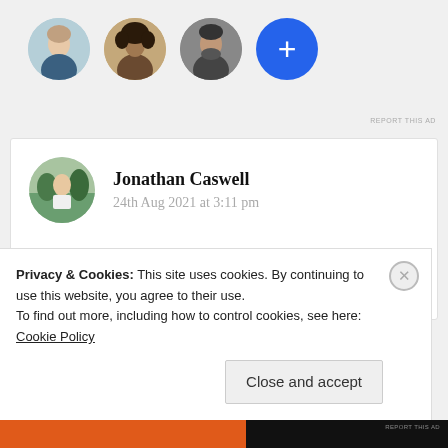[Figure (screenshot): Top section showing social media avatars: three circular profile photos (person 1 woman, person 2 woman with curly hair, person 3 man with beard) and a blue circle with white plus sign]
[Figure (screenshot): Comment card with Jonathan Caswell profile photo, name, date '24th Aug 2021 at 3:11 pm', comment text 'Reblogged this on By the Mighty Mumford.', and liked by 5 people with star icon]
Privacy & Cookies: This site uses cookies. By continuing to use this website, you agree to their use.
To find out more, including how to control cookies, see here: Cookie Policy
Close and accept